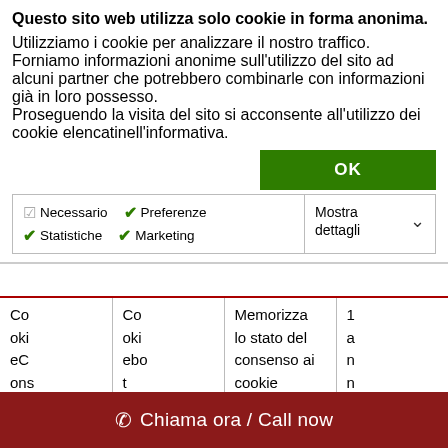Questo sito web utilizza solo cookie in forma anonima.
Utilizziamo i cookie per analizzare il nostro traffico. Forniamo informazioni anonime sull'utilizzo del sito ad alcuni partner che potrebbero combinarle con informazioni già in loro possesso.
Proseguendo la visita del sito si acconsente all'utilizzo dei cookie elencatinell'informativa.
OK
Necessario  Preferenze  Statistiche  Marketing  Mostra dettagli
| Co
oki
eC
ons
ent | Co
oki
ebo
t | Memorizza
lo stato del
consenso ai
cookie
dell'utente
per il
dominio | 1
a
n
n
o |
| --- | --- | --- | --- |
📞 Chiama ora / Call now